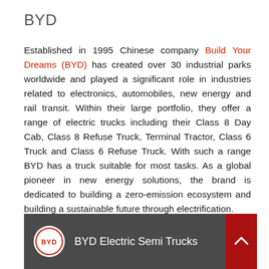BYD
Established in 1995 Chinese company Build Your Dreams (BYD) has created over 30 industrial parks worldwide and played a significant role in industries related to electronics, automobiles, new energy and rail transit. Within their large portfolio, they offer a range of electric trucks including their Class 8 Day Cab, Class 8 Refuse Truck, Terminal Tractor, Class 6 Truck and Class 6 Refuse Truck. With such a range BYD has a truck suitable for most tasks. As a global pioneer in new energy solutions, the brand is dedicated to building a zero-emission ecosystem and building a sustainable future through electrification.
[Figure (screenshot): Video thumbnail showing BYD Electric Semi Trucks with BYD logo circle, title text, three-dot menu, and red scroll-to-top button]